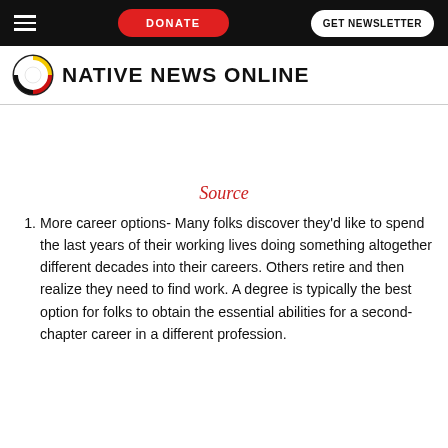DONATE  GET NEWSLETTER
[Figure (logo): Native News Online logo with circular black, red, yellow, and white symbol and bold uppercase text]
Source
1. More career options- Many folks discover they'd like to spend the last years of their working lives doing something altogether different decades into their careers. Others retire and then realize they need to find work. A degree is typically the best option for folks to obtain the essential abilities for a second-chapter career in a different profession.